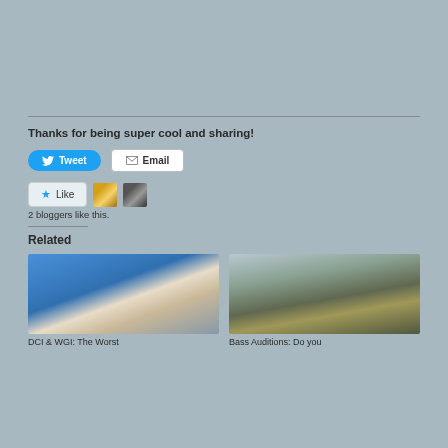Thanks for being super cool and sharing!
[Figure (screenshot): Tweet button (blue rounded) and Email button (white bordered)]
[Figure (screenshot): Like button with star icon, two blogger avatar thumbnails, text '2 bloggers like this.']
2 bloggers like this.
Related
[Figure (photo): DCI & WGI: The Worst — sculpture of a thinker figure against blue sky]
[Figure (photo): Bass Auditions: Do you — marching band members with large bass drums on a field]